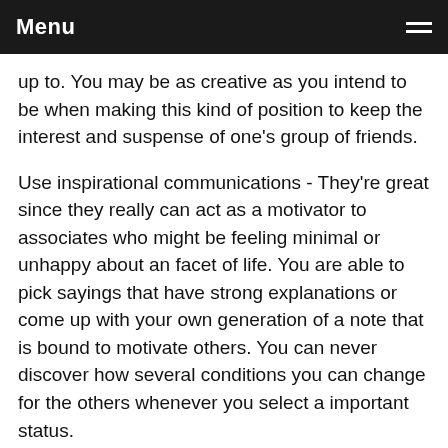Menu
up to. You may be as creative as you intend to be when making this kind of position to keep the interest and suspense of one's group of friends.
Use inspirational communications - They're great since they really can act as a motivator to associates who might be feeling minimal or unhappy about an facet of life. You are able to pick sayings that have strong explanations or come up with your own generation of a note that is bound to motivate others. You can never discover how several conditions you can change for the others whenever you select a important status.
Port but do not note any names - Until you are writing a confident position dedicated to an individual you intend to appreciate, avoid mentioning names. It is